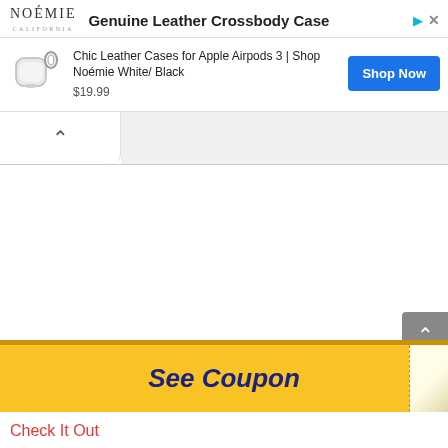[Figure (screenshot): Advertisement banner for Noémie Genuine Leather Crossbody Case featuring a product image of AirPods case, price $19.99, and a blue 'Shop Now' button]
Check It Out